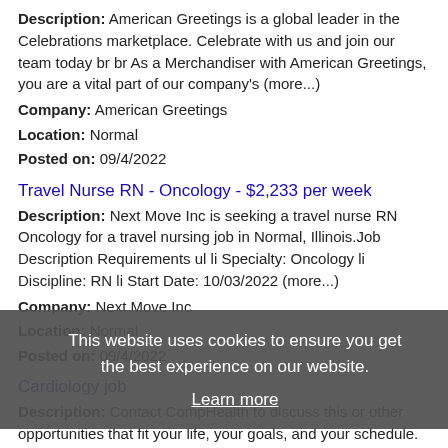Description: American Greetings is a global leader in the Celebrations marketplace. Celebrate with us and join our team today br br As a Merchandiser with American Greetings, you are a vital part of our company's (more...)
Company: American Greetings
Location: Normal
Posted on: 09/4/2022
Travel Nurse RN - Oncology - $2,233 per week
Description: Next Move Inc is seeking a travel nurse RN Oncology for a travel nursing job in Normal, Illinois.Job Description Requirements ul li Specialty: Oncology li Discipline: RN li Start Date: 10/03/2022 (more...)
Company: Next Move Inc
Location: Normal
Posted on: 09/4/2022
Cardiology job
Description: Contact CompHealth to discuss this or other opportunities that fit your life, your goals, and your schedule. ul li
Company: CompHealth
Location: Normal
Posted on: 09/4/2022